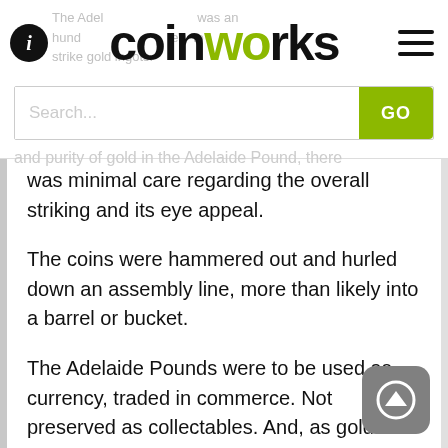coinworks
and purity of gold in the Adelaide Pound, there was minimal care regarding the overall striking and its eye appeal.
The coins were hammered out and hurled down an assembly line, more than likely into a barrel or bucket.
The Adelaide Pounds were to be used as currency, traded in commerce. Not preserved as collectables. And, as gold is a relatively soft metal, the rigours of circulation have treated most Adelaide Pounds harshly.